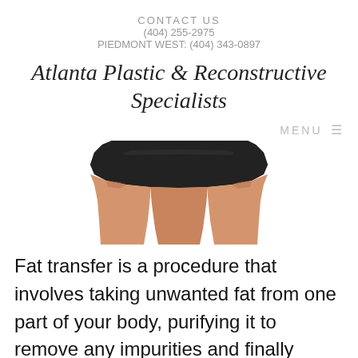CONTACT US
(404) 255-2975
PIEDMONT WEST: (404) 343-0897
Atlanta Plastic & Reconstructive Specialists
MENU ≡
[Figure (photo): Close-up photo of a person wearing black shorts, showing thigh/hip area against white background]
Fat transfer is a procedure that involves taking unwanted fat from one part of your body, purifying it to remove any impurities and finally adding the fat to a new Read More